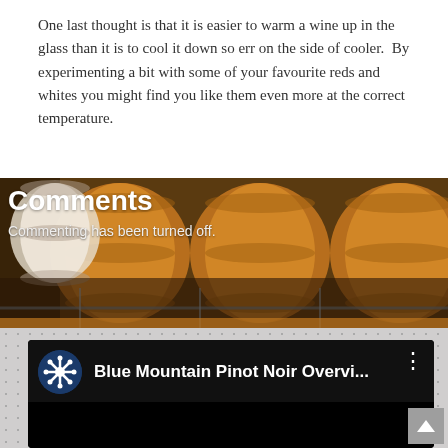One last thought is that it is easier to warm a wine up in the glass than it is to cool it down so err on the side of cooler.  By experimenting a bit with some of your favourite reds and whites you might find you like them even more at the correct temperature.
[Figure (photo): Background photo of wine barrels stacked in a winery cellar, with warm amber/brown tones]
Comments
Commenting has been turned off.
[Figure (screenshot): YouTube video embed showing 'Blue Mountain Pinot Noir Overvi...' with a circular logo icon on a dark/black background]